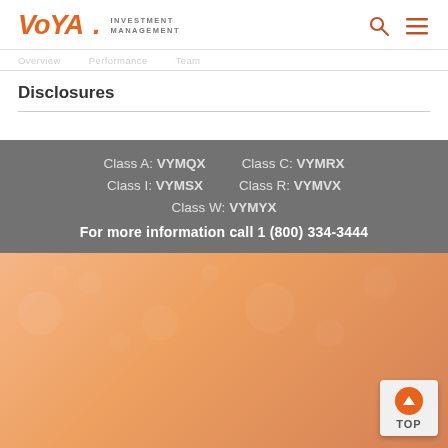VOYA INVESTMENT MANAGEMENT
Disclosures
Class A: VYMQX   Class C: VYMRX
Class I: VYMSX   Class R: VYMVX
Class W: VYMYX
For more information call 1 (800) 334-3444
[Figure (other): Orange/peach decorative gradient footer background with sparkle/bokeh effect, with a TOP button in the bottom right corner.]